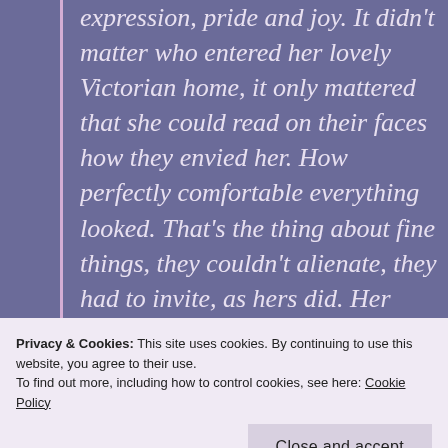expression, pride and joy. It didn't matter who entered her lovely Victorian home, it only mattered that she could read on their faces how they envied her. How perfectly comfortable everything looked. That's the thing about fine things, they couldn't alienate, they had to invite, as hers did. Her garage sale finds had to whisper their desire to be picked up. Her paintings had to demand pleasing stares and the cushions on her chairs had to long for a
Privacy & Cookies: This site uses cookies. By continuing to use this website, you agree to their use.
To find out more, including how to control cookies, see here: Cookie Policy
her house. She demanded notice, as